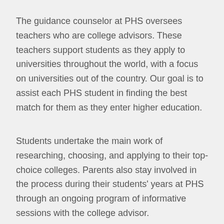The guidance counselor at PHS oversees teachers who are college advisors. These teachers support students as they apply to universities throughout the world, with a focus on universities out of the country. Our goal is to assist each PHS student in finding the best match for them as they enter higher education.
Students undertake the main work of researching, choosing, and applying to their top-choice colleges. Parents also stay involved in the process during their students' years at PHS through an ongoing program of informative sessions with the college advisor.